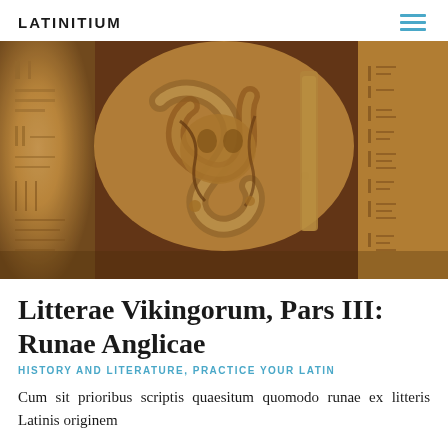LATINITIUM
[Figure (photo): Close-up photograph of an ancient carved stone with runes and interlace patterns, warm golden-brown tones, showing Viking Age stonework with serpentine decorations and runic inscriptions on the sides]
Litterae Vikingorum, Pars III: Runae Anglicae
HISTORY AND LITERATURE, PRACTICE YOUR LATIN
Cum sit prioribus scriptis quaesitum quomodo runae ex litteris Latinis originem